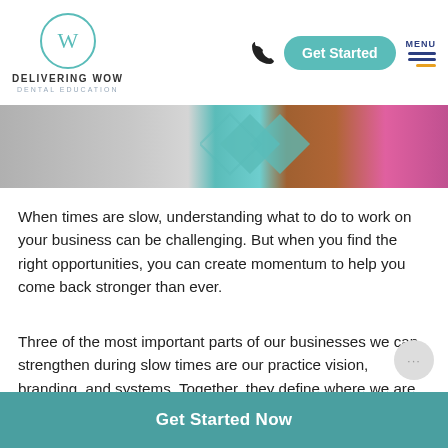Delivering WOW Dental Education — navigation header with logo, phone, Get Started button, and MENU
[Figure (photo): Hero image strip showing partial view of a woman with curly auburn hair in a pink outfit, overlaid with teal diamond/arrow graphic elements on a grey background.]
When times are slow, understanding what to do to work on your business can be challenging. But when you find the right opportunities, you can create momentum to help you come back stronger than ever.
Three of the most important parts of our businesses we can strengthen during slow times are our practice vision, branding, and systems. Together, they define where we are going, the relationships we build to get us there, and the methods we will use to achieve our
Get Started Now